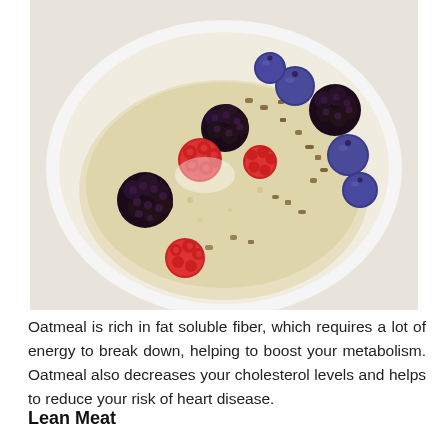[Figure (photo): A white bowl of oatmeal topped with mixed berries (blackberries, raspberries, blueberries) and chopped nuts, photographed from above on a white background.]
Oatmeal is rich in fat soluble fiber, which requires a lot of energy to break down, helping to boost your metabolism. Oatmeal also decreases your cholesterol levels and helps to reduce your risk of heart disease.
Lean Meat
[Figure (photo): Partial view of what appears to be lean meat, cropped at the bottom of the page.]